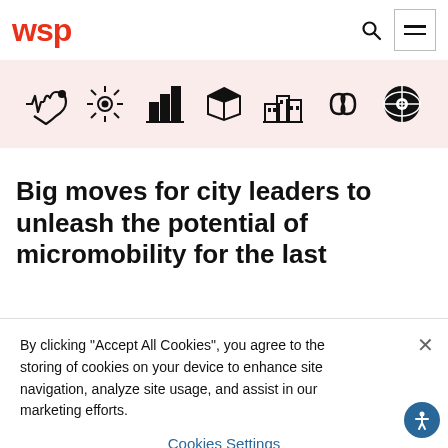WSP
[Figure (infographic): Row of seven small black icons on a pink/rose background: heartbeat/medical, sun/eye, bar chart/gifts, open box/gift, city buildings, infinity/loop, and globe/eye icon]
Big moves for city leaders to unleash the potential of micromobility for the last
By clicking “Accept All Cookies”, you agree to the storing of cookies on your device to enhance site navigation, analyze site usage, and assist in our marketing efforts.
Cookies Settings
Accept All Cookies